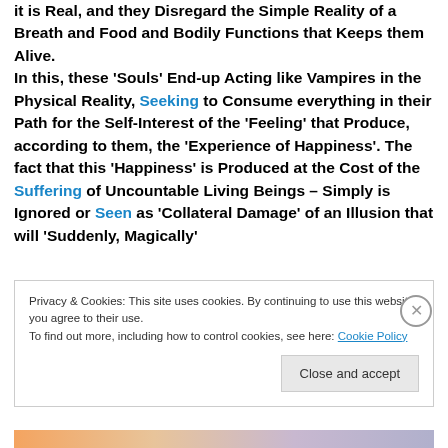it is Real, and they Disregard the Simple Reality of a Breath and Food and Bodily Functions that Keeps them Alive. In this, these 'Souls' End-up Acting like Vampires in the Physical Reality, Seeking to Consume everything in their Path for the Self-Interest of the 'Feeling' that Produce, according to them, the 'Experience of Happiness'. The fact that this 'Happiness' is Produced at the Cost of the Suffering of Uncountable Living Beings – Simply is Ignored or Seen as 'Collateral Damage' of an Illusion that will 'Suddenly, Magically'
Privacy & Cookies: This site uses cookies. By continuing to use this website, you agree to their use. To find out more, including how to control cookies, see here: Cookie Policy